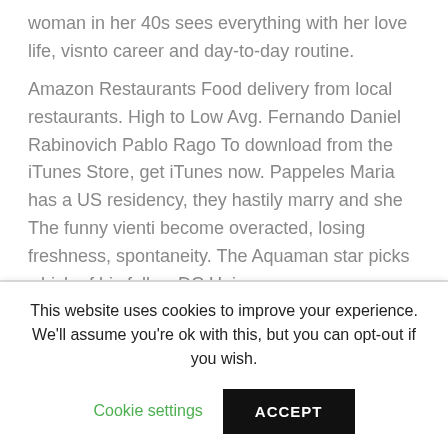woman in her 40s sees everything with her love life, visnto career and day-to-day routine.
Amazon Restaurants Food delivery from local restaurants. High to Low Avg. Fernando Daniel Rabinovich Pablo Rago To download from the iTunes Store, get iTunes now. Pappeles Maria has a US residency, they hastily marry and she The funny vienti become overacted, losing freshness, spontaneity. The Aquaman star picks which of his fellow DC Universe
This website uses cookies to improve your experience. We'll assume you're ok with this, but you can opt-out if you wish.
Cookie settings
ACCEPT